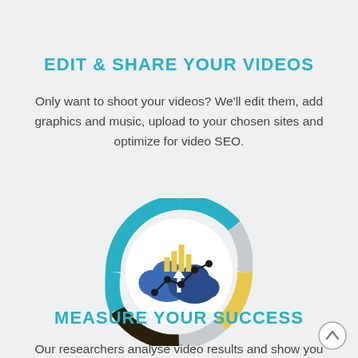[Figure (infographic): Partial donut/ring chart at the top, with segments in dark brown/black, light gray, and yellow/gold colors, partially visible at top of page]
EDIT & SHARE YOUR VIDEOS
Only want to shoot your videos? We'll edit them, add graphics and music, upload to your chosen sites and optimize for video SEO.
[Figure (infographic): Circular icon with a donut ring border in segments of blue, gray, yellow/gold, and dark brown. Center white circle contains a blue cloud upload icon with yellow bar chart and a black dotted line graph overlaid.]
MEASURE YOUR SUCCESS
Our researchers analyse video results and show you their...